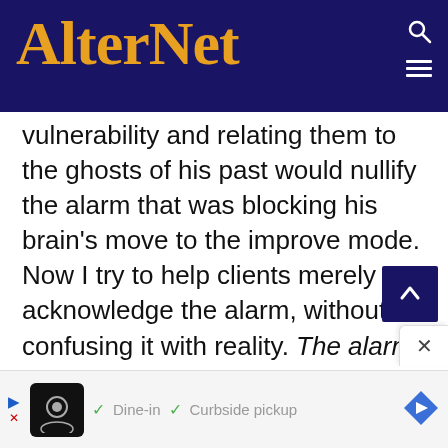AlterNet
vulnerability and relating them to the ghosts of his past would nullify the alarm that was blocking his brain’s move to the improve mode. Now I try to help clients merely acknowledge the alarm, without confusing it with reality. The alarm is not the fire! Then I help them assess the damage, and finally, we focus on improving. Clients rehearse the sequence repeatedly until it becomes a habit.
[Figure (screenshot): Advertisement bar showing a restaurant logo with Dine-in and Curbside pickup checkmarks and a navigation arrow icon]